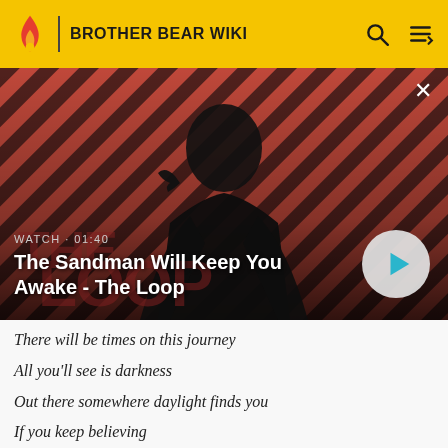BROTHER BEAR WIKI
[Figure (screenshot): Video thumbnail showing a man in black with a raven on his shoulder against a red and dark diagonal striped background. Text overlay reads WATCH · 01:40 and The Sandman Will Keep You Awake - The Loop. A play button is visible on the right.]
There will be times on this journey
All you'll see is darkness
Out there somewhere daylight finds you
If you keep believing
So don't run, don't hide